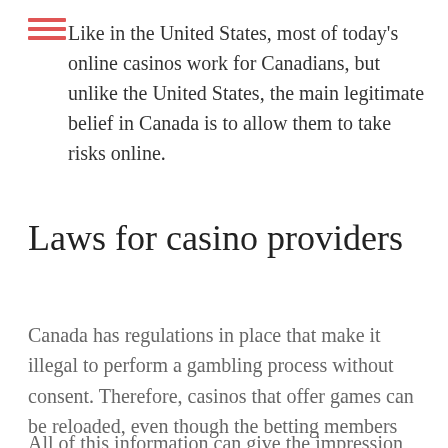Like in the United States, most of today's online casinos work for Canadians, but unlike the United States, the main legitimate belief in Canada is to allow them to take risks online.
Laws for casino providers
Canada has regulations in place that make it illegal to perform a gambling process without consent. Therefore, casinos that offer games can be reloaded, even though the betting members appear to be when you look at the crystal.
All of this information can give the impression that they are